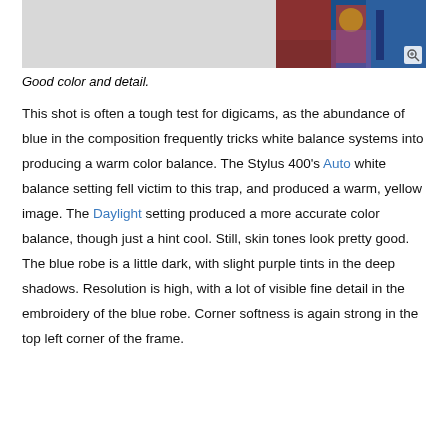[Figure (photo): Partially visible photo of people in colorful robes (red/blue embroidered costumes) on a light gray background, with a zoom icon in the bottom right corner.]
Good color and detail.
This shot is often a tough test for digicams, as the abundance of blue in the composition frequently tricks white balance systems into producing a warm color balance. The Stylus 400's Auto white balance setting fell victim to this trap, and produced a warm, yellow image. The Daylight setting produced a more accurate color balance, though just a hint cool. Still, skin tones look pretty good. The blue robe is a little dark, with slight purple tints in the deep shadows. Resolution is high, with a lot of visible fine detail in the embroidery of the blue robe. Corner softness is again strong in the top left corner of the frame.